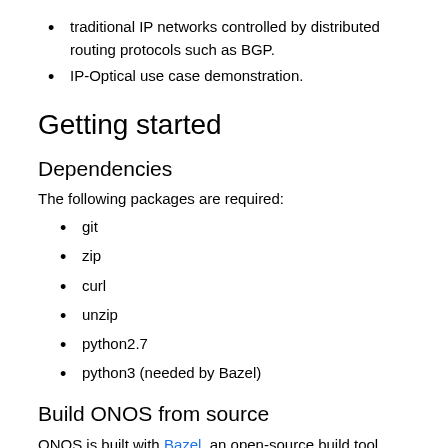traditional IP networks controlled by distributed routing protocols such as BGP.
IP-Optical use case demonstration.
Getting started
Dependencies
The following packages are required:
git
zip
curl
unzip
python2.7
python3 (needed by Bazel)
Build ONOS from source
ONOS is built with Bazel, an open-source build tool developed by Google. We suggest downloading and installing Bazel using